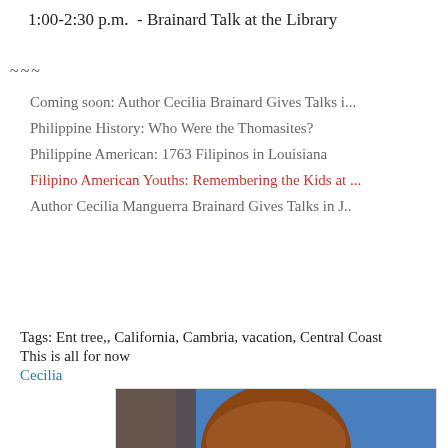1:00-2:30 p.m.  - Brainard Talk at the Library
~~~
Coming soon: Author Cecilia Brainard Gives Talks i...
Philippine History: Who Were the Thomasites?
Philippine American: 1763 Filipinos in Louisiana
Filipino American Youths: Remembering the Kids at ...
Author Cecilia Manguerra Brainard Gives Talks in J..
Tags: Ent tree,, California, Cambria, vacation, Central Coast
This is all for now
Cecilia
[Figure (photo): Close-up photo of a woman with auburn/brown hair wearing dark-framed glasses, in front of a blue background.]